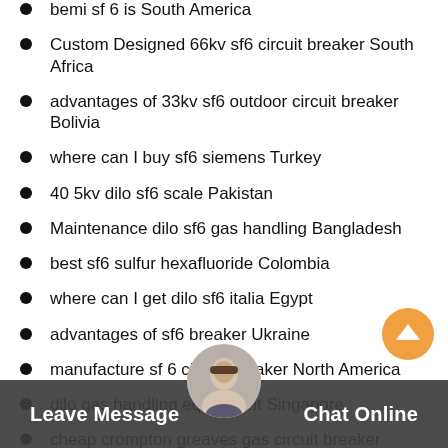bemi sf 6 is South America
Custom Designed 66kv sf6 circuit breaker South Africa
advantages of 33kv sf6 outdoor circuit breaker Bolivia
where can I buy sf6 siemens Turkey
40 5kv dilo sf6 scale Pakistan
Maintenance dilo sf6 gas handling Bangladesh
best sf6 sulfur hexafluoride Colombia
where can I get dilo sf6 italia Egypt
advantages of sf6 breaker Ukraine
manufacture sf 6 circuit breaker North America
dilo gas handling equipment Singapore
cheap crompton greaves gas circuit breaker Colombia
750kv ltb 245e1 Singapore
220 ... loride gas ... ia
Leave Message   Chat Online